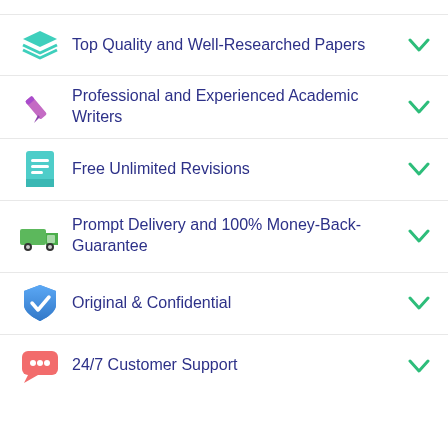Top Quality and Well-Researched Papers
Professional and Experienced Academic Writers
Free Unlimited Revisions
Prompt Delivery and 100% Money-Back-Guarantee
Original & Confidential
24/7 Customer Support